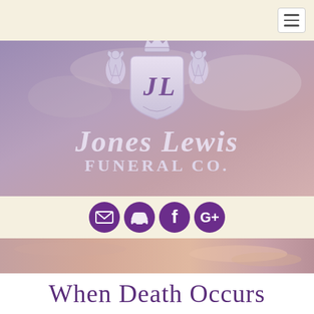[Figure (logo): Navigation bar with hamburger menu icon on the right side, cream/beige background]
[Figure (logo): Jones Lewis Funeral Co. logo with heraldic shield crest featuring 'JL' monogram, crown at top, two lions rampant on sides, on a purple-pink sunset gradient background. Company name in ornate serif font below crest.]
[Figure (infographic): Social media icons bar: email envelope, car/directions, Facebook 'f', Google+ 'G+' icons in purple circles on cream background]
[Figure (photo): Sunset sky background strip with pink, peach and purple gradient tones]
When Death Occurs